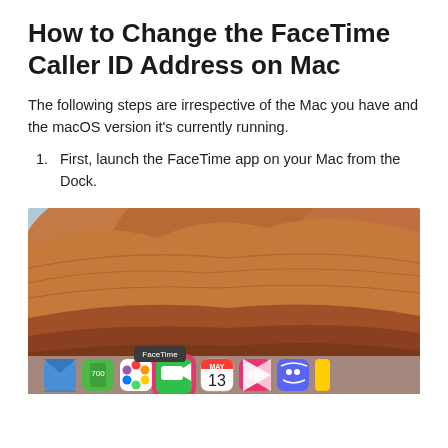How to Change the FaceTime Caller ID Address on Mac
The following steps are irrespective of the Mac you have and the macOS version it's currently running.
First, launch the FaceTime app on your Mac from the Dock.
[Figure (screenshot): Mac Dock screenshot showing FaceTime app icon highlighted with a pink/red border, with a tooltip reading 'FaceTime'. The dock shows several app icons including Mail, Maps, Photos, FaceTime (highlighted), Calendar showing MAY 13, and other apps. Background shows a rocky desert landscape.]